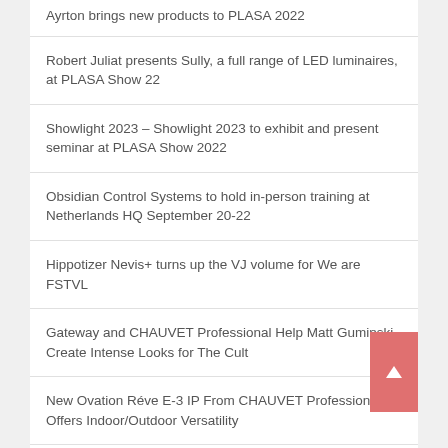Ayrton brings new products to PLASA 2022
Robert Juliat presents Sully, a full range of LED luminaires, at PLASA Show 22
Showlight 2023 – Showlight 2023 to exhibit and present seminar at PLASA Show 2022
Obsidian Control Systems to hold in-person training at Netherlands HQ September 20-22
Hippotizer Nevis+ turns up the VJ volume for We are FSTVL
Gateway and CHAUVET Professional Help Matt Guminski Create Intense Looks for The Cult
New Ovation Réve E-3 IP From CHAUVET Professional Offers Indoor/Outdoor Versatility
Elation lighting supports one-of-a-kind nighttime experience at Wisconsin's The Nature of Light: An